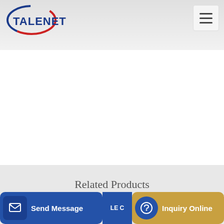TALENET
[Figure (logo): Talenet logo with red and blue ellipse and bold blue TALENET text]
Related Products
Bruder Man Tgs Cement Mixer Truck 03710
Export Duty on Mixing Pumps in India
Send Message | Inquiry Online